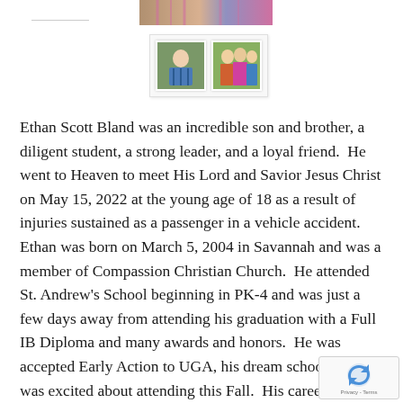[Figure (photo): Top partial photo of a person wearing a striped shirt, cropped at the top of the page]
[Figure (photo): Two thumbnail photos side by side: left shows a young man in a blue striped shirt outdoors, right shows a group of people standing together outdoors]
Ethan Scott Bland was an incredible son and brother, a diligent student, a strong leader, and a loyal friend.  He went to Heaven to meet His Lord and Savior Jesus Christ on May 15, 2022 at the young age of 18 as a result of injuries sustained as a passenger in a vehicle accident.  Ethan was born on March 5, 2004 in Savannah and was a member of Compassion Christian Church.  He attended St. Andrew's School beginning in PK-4 and was just a few days away from attending his graduation with a Full IB Diploma and many awards and honors.  He was accepted Early Action to UGA, his dream school, and he was excited about attending this Fall.  His career goal was to become a pediatric